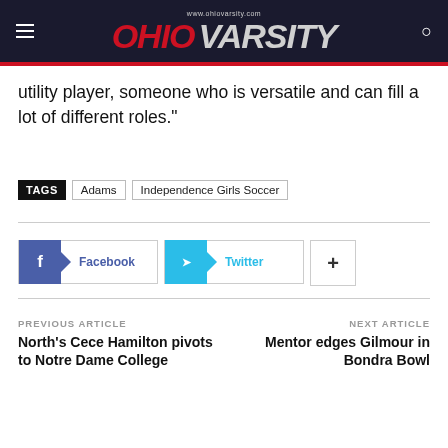OHIO VARSITY — www.ohiovarsity.com
utility player, someone who is versatile and can fill a lot of different roles."
TAGS: Adams | Independence Girls Soccer
Facebook | Twitter | +
PREVIOUS ARTICLE
North's Cece Hamilton pivots to Notre Dame College
NEXT ARTICLE
Mentor edges Gilmour in Bondra Bowl